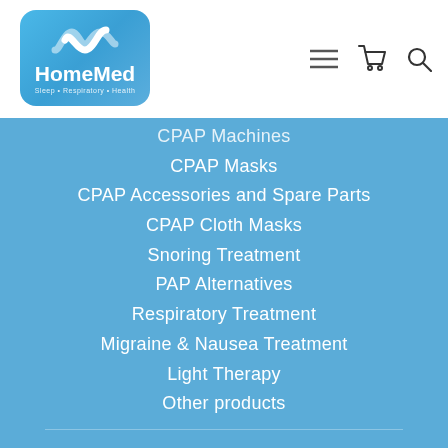[Figure (logo): HomeMed logo with blue rounded rectangle background, white wave/ribbon icon, text 'HomeMed' and subtitle 'Sleep • Respiratory • Health']
[Figure (other): Navigation icons: hamburger menu, shopping cart, and search magnifying glass]
CPAP Machines
CPAP Masks
CPAP Accessories and Spare Parts
CPAP Cloth Masks
Snoring Treatment
PAP Alternatives
Respiratory Treatment
Migraine & Nausea Treatment
Light Therapy
Other products
Brands
BMC
Provent Sleep Apnea Treatment
Theravent Snore Therapy